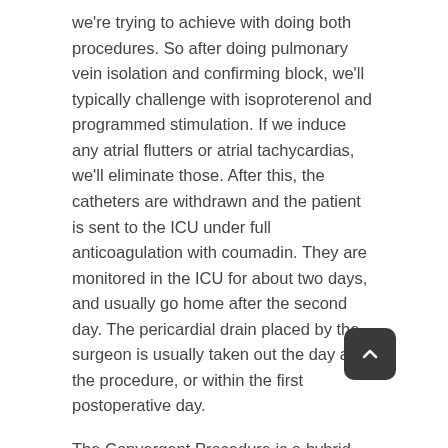we're trying to achieve with doing both procedures. So after doing pulmonary vein isolation and confirming block, we'll typically challenge with isoproterenol and programmed stimulation. If we induce any atrial flutters or atrial tachycardias, we'll eliminate those. After this, the catheters are withdrawn and the patient is sent to the ICU under full anticoagulation with coumadin. They are monitored in the ICU for about two days, and usually go home after the second day. The pericardial drain placed by the surgeon is usually taken out the day after the procedure, or within the first postoperative day.
The Convergent Procedure is a hybrid procedure; how does it differ from other hybrid ablations? Does it require a new room or new equipment?
Onufer: In terms of other hybrid ablations, the procedure is staged into two separate procedures so the surgeon